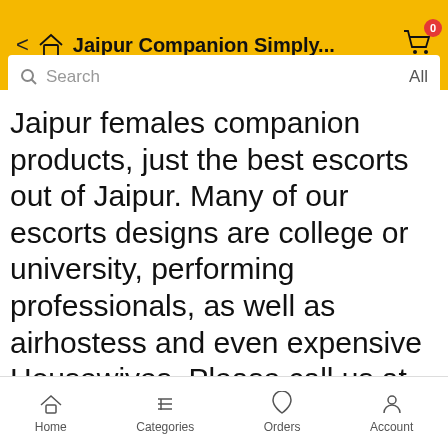Jaipur Companion Simply...
Jaipur females companion products, just the best escorts out of Jaipur. Many of our escorts designs are college or university, performing professionals, as well as airhostess and even expensive Housewives. Please call us at the +91-00000000
Home  Categories  Orders  Account